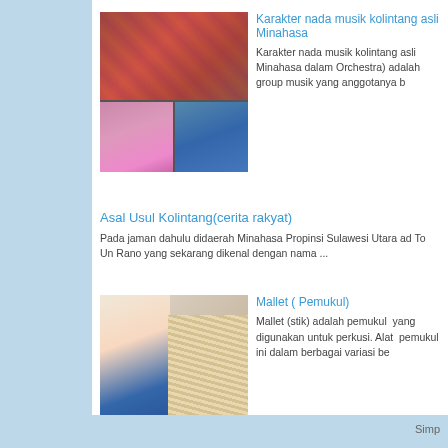[Figure (photo): Collage of two images: top showing a performance hall with musicians, bottom showing dancers in pink and a blue-toned image]
Karakter nada musik kolintang asli Minahasa
Karakter nada musik kolintang asli Minahasa dalam Orchestra) adalah group musik yang anggotanya b
Asal Usul Kolintang(cerita rakyat)
Pada jaman dahulu didaerah Minahasa Propinsi Sulawesi Utara ad To Un Rano yang sekarang dikenal dengan nama ...
[Figure (photo): Photo of a woman in blue dress holding mallet sticks/percussion mallets with a fan of sticks in the foreground]
Mallet ( Pemukul)
Mallet (stik) adalah pemukul  yang digunakan untuk perkusi. Alat  pemukul ini dalam berbagai variasi be
Simp